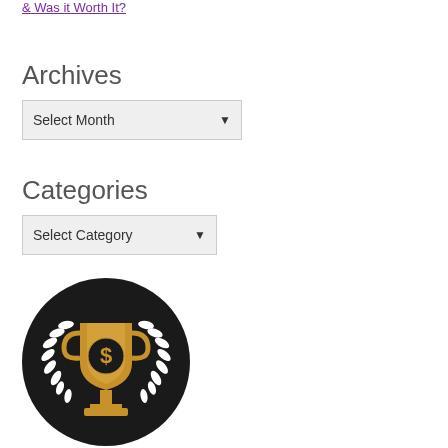& Was it Worth It?
Archives
Select Month
Categories
Select Category
[Figure (illustration): A circular black badge/icon featuring a gold trophy cup with a dollar sign in the center, surrounded by white laurel wreaths on a dark background.]